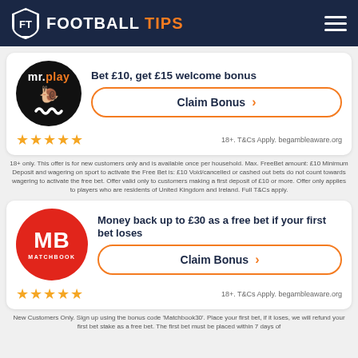FOOTBALL TIPS
[Figure (logo): mr.play circular black logo with mustache]
Bet £10, get £15 welcome bonus
Claim Bonus
18+. T&Cs Apply. begambleaware.org
18+ only. This offer is for new customers only and is available once per household. Max. FreeBet amount: £10 Minimum Deposit and wagering on sport to activate the Free Bet is: £10 Void/cancelled or cashed out bets do not count towards wagering to activate the free bet. Offer valid only to customers making a first deposit of £10 or more. Offer only applies to players who are residents of United Kingdom and Ireland. Full T&Cs apply.
[Figure (logo): Matchbook red circular logo with MB letters]
Money back up to £30 as a free bet if your first bet loses
Claim Bonus
18+. T&Cs Apply. begambleaware.org
New Customers Only. Sign up using the bonus code 'Matchbook30'. Place your first bet, if it loses, we will refund your first bet stake as a free bet. The first bet must be placed within 7 days of